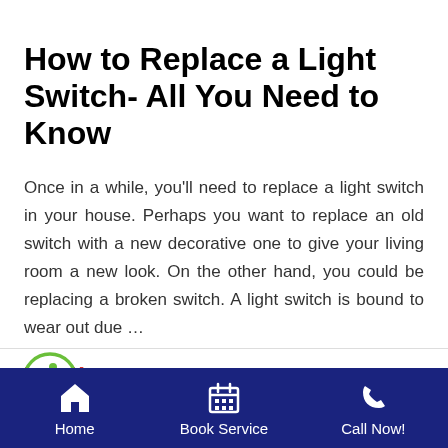How to Replace a Light Switch- All You Need to Know
Once in a while, you’ll need to replace a light switch in your house. Perhaps you want to replace an old switch with a new decorative one to give your living room a new look. On the other hand, you could be replacing a broken switch. A light switch is bound to wear out due …
Read More »
[Figure (logo): Circular green accessibility/wheelchair icon]
[Figure (illustration): Decorative scroll bar texture with dark blue ripple pattern]
Home | Book Service | Call Now!